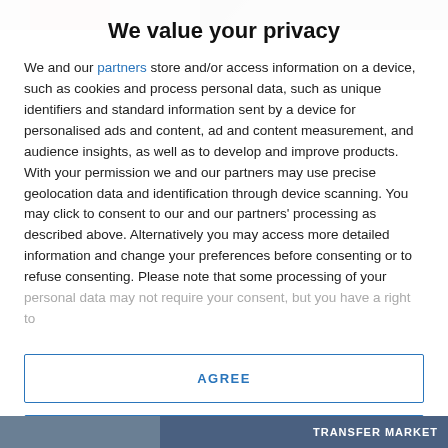[Figure (photo): Top banner image strip showing partial photo, grey/muted tones]
We value your privacy
We and our partners store and/or access information on a device, such as cookies and process personal data, such as unique identifiers and standard information sent by a device for personalised ads and content, ad and content measurement, and audience insights, as well as to develop and improve products. With your permission we and our partners may use precise geolocation data and identification through device scanning. You may click to consent to our and our partners' processing as described above. Alternatively you may access more detailed information and change your preferences before consenting or to refuse consenting. Please note that some processing of your personal data may not require your consent, but you have a right to
AGREE
MORE OPTIONS
[Figure (photo): Bottom strip showing partial image and TRANSFER MARKET text]